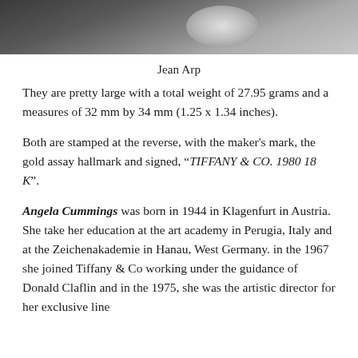[Figure (photo): Partial photograph showing dark background with light circular or oval shape, cropped at top of page]
Jean Arp
They are pretty large with a total weight of 27.95 grams and a measures of 32 mm by 34 mm (1.25 x 1.34 inches).
Both are stamped at the reverse, with the maker's mark, the gold assay hallmark and signed, "TIFFANY & CO. 1980 18 K".
Angela Cummings was born in 1944 in Klagenfurt in Austria. She take her education at the art academy in Perugia, Italy and at the Zeichenakademie in Hanau, West Germany. in the 1967 she joined Tiffany & Co working under the guidance of Donald Claflin and in the 1975, she was the artistic director for her exclusive line